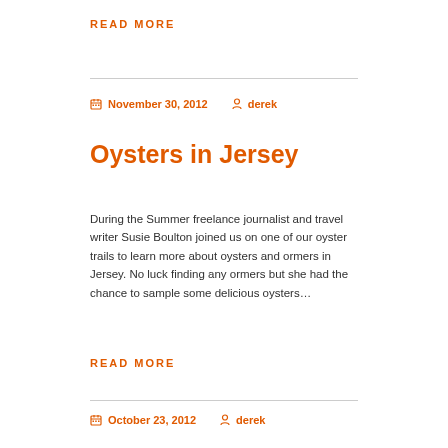READ MORE
November 30, 2012   derek
Oysters in Jersey
During the Summer freelance journalist and travel writer Susie Boulton joined us on one of our oyster trails to learn more about oysters and ormers in Jersey. No luck finding any ormers but she had the chance to sample some delicious oysters…
READ MORE
October 23, 2012   derek